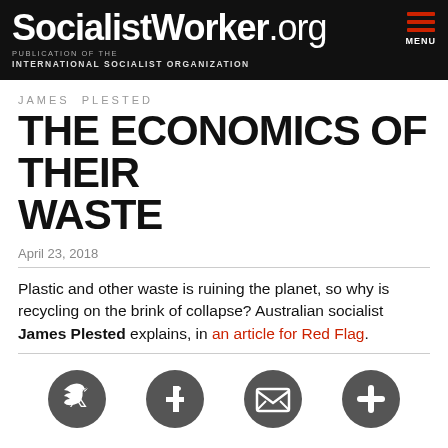SocialistWorker.org | PUBLICATION OF THE INTERNATIONAL SOCIALIST ORGANIZATION | MENU
JAMES PLESTED
THE ECONOMICS OF THEIR WASTE
April 23, 2018
Plastic and other waste is ruining the planet, so why is recycling on the brink of collapse? Australian socialist James Plested explains, in an article for Red Flag.
[Figure (infographic): Social media sharing icons row: Twitter bird icon, Facebook f icon, Email/envelope icon, Plus/add icon — all in dark gray circles]